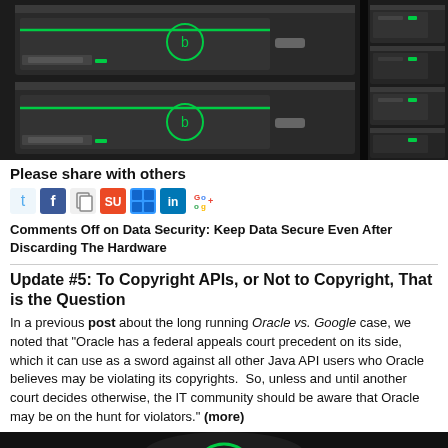[Figure (photo): Black server rack units with green LED indicators and circular logo badges, stacked in a data center]
Please share with others
[Figure (infographic): Social sharing icons: Twitter, Facebook, copy, StumbleUpon, Delicious, LinkedIn, Google+]
Comments Off on Data Security: Keep Data Secure Even After Discarding The Hardware
Update #5: To Copyright APIs, or Not to Copyright, That is the Question
In a previous post about the long running Oracle vs. Google case, we noted that "Oracle has a federal appeals court precedent on its side, which it can use as a sword against all other Java API users who Oracle believes may be violating its copyrights.  So, unless and until another court decides otherwise, the IT community should be aware that Oracle may be on the hunt for violators." (more)
[Figure (photo): Bottom partial image showing dark background with green circular element]